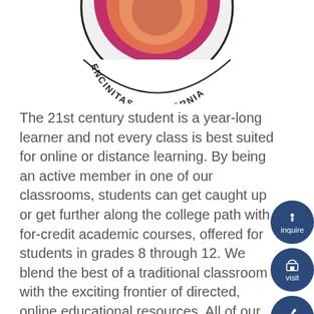[Figure (logo): Circular school logo/seal with text 'ENCINITAS, CALIFORNIA' around the border, colorful design with pink and orange tones, partially cropped at top]
The 21st century student is a year-long learner and not every class is best suited for online or distance learning. By being an active member in one of our classrooms, students can get caught up or get further along the college path with for-credit academic courses, offered for students in grades 8 through 12. We blend the best of a traditional classroom with the exciting frontier of directed, online educational resources. All of our classes are taught by Grauer teachers, with low teacher student ratios for the summer student who needs extra support. Courses meet UC